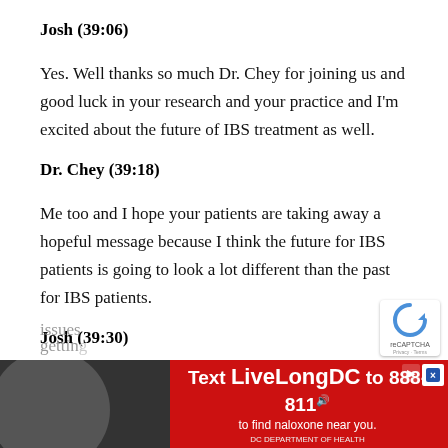Josh (39:06)
Yes. Well thanks so much Dr. Chey for joining us and good luck in your research and your practice and I'm excited about the future of IBS treatment as well.
Dr. Chey (39:18)
Me too and I hope your patients are taking away a hopeful message because I think the future for IBS patients is going to look a lot different than the past for IBS patients.
Josh (39:30)
Yeah, I'm excited about the diagnostic testing too, right. getting [obscured text] issues [obscured by ad]
[Figure (infographic): Advertisement banner: Text LiveLongDC to 888-811 to find naloxone near you. Red background with white bold text, image of person on left side.]